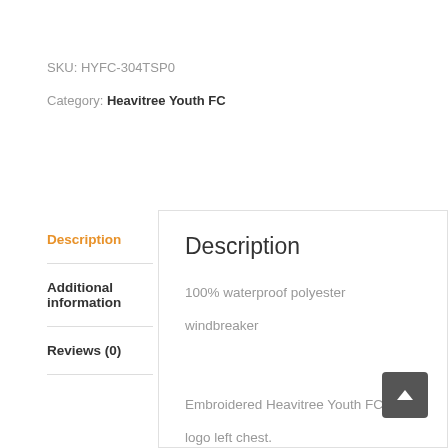SKU: HYFC-304TSP0
Category: Heavitree Youth FC
Description
Additional information
Reviews (0)
Description
100% waterproof polyester windbreaker
Embroidered Heavitree Youth FC logo left chest.